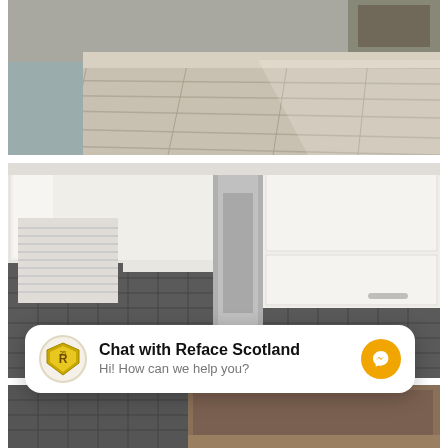[Figure (photo): Kitchen floor with light grey wood-effect laminate flooring, grey kitchen cabinets and built-in microwave visible in the background]
[Figure (photo): Kitchen interior showing white gloss wall cabinets, dark grey/anthracite tile splashback, stainless steel range hood, and white countertop]
[Figure (photo): Partially visible kitchen photo showing dark tile backsplash and walnut-effect worktop]
Chat with Reface Scotland
Hi! How can we help you?